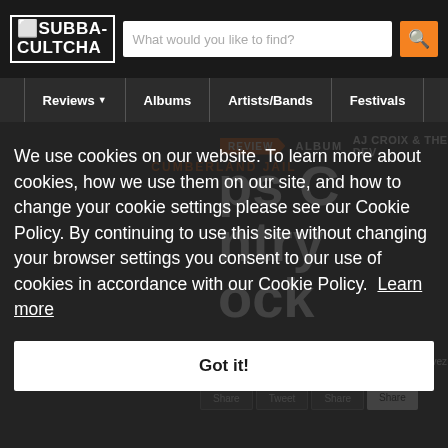SUBBA-CULTCHA — What would you like to find?
Reviews | Albums | Artists/Bands | Festivals
REVIEW  ALBUM  AJ CROIX & THE DEV...
CUMBERLAND JAIL
...Keeps C...untry ...ock
Published 11 Oct 19 07:33 PM by Palmer Chavez
We use cookies on our website. To learn more about cookies, how we use them on our site, and how to change your cookie settings please see our Cookie Policy. By continuing to use this site without changing your browser settings you consent to our use of cookies in accordance with our Cookie Policy. Learn more
Got it!